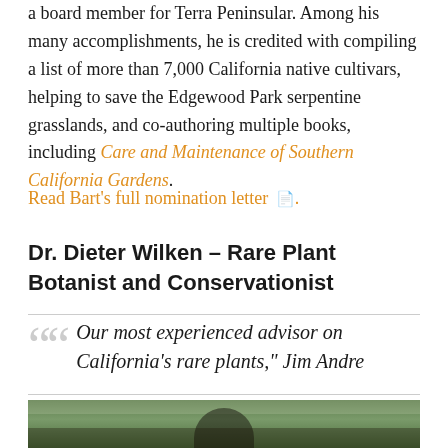a board member for Terra Peninsular. Among his many accomplishments, he is credited with compiling a list of more than 7,000 California native cultivars, helping to save the Edgewood Park serpentine grasslands, and co-authoring multiple books, including Care and Maintenance of Southern California Gardens.
Read Bart's full nomination letter 📄.
Dr. Dieter Wilken – Rare Plant Botanist and Conservationist
"Our most experienced advisor on California's rare plants," Jim Andre
[Figure (photo): Bottom portion of a photo showing a person outdoors with green foliage in the background]